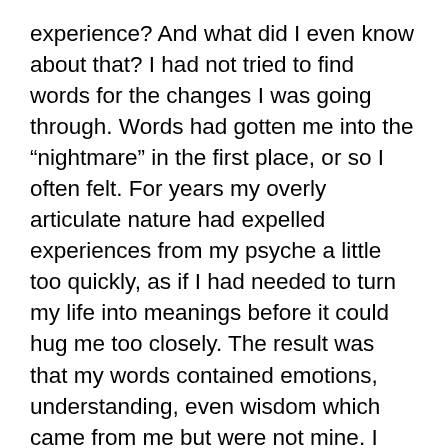experience? And what did I even know about that? I had not tried to find words for the changes I was going through. Words had gotten me into the “nightmare” in the first place, or so I often felt. For years my overly articulate nature had expelled experiences from my psyche a little too quickly, as if I had needed to turn my life into meanings before it could hug me too closely. The result was that my words contained emotions, understanding, even wisdom which came from me but were not mine. I was a hostage to my words: what I spoke, I didn’t have; what belonged to my “style” did not belong to me. It had been something of a devil’s bargain, and for a while I had been willing to keep the bargain: a feeling of personal emptiness in return for good language; a private conviction of failure in return for steady doses of attention from all the hearers I could induce to gather round. It reassured me that so little of my communication with Muktananda had been